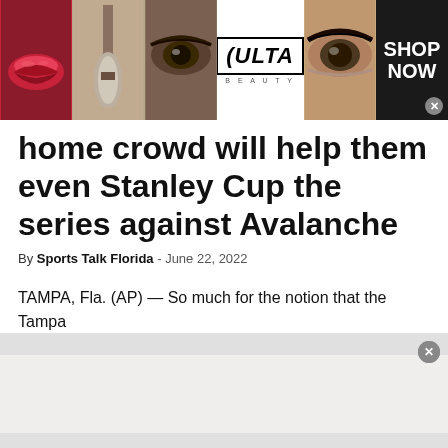[Figure (screenshot): Ulta Beauty advertisement banner showing makeup/beauty imagery with red lips, brush, eye close-ups, Ulta Beauty logo in center, and SHOP NOW text on right with close button]
home crowd will help them even Stanley Cup the series against Avalanche
By Sports Talk Florida - June 22, 2022
TAMPA, Fla. (AP) — So much for the notion that the Tampa